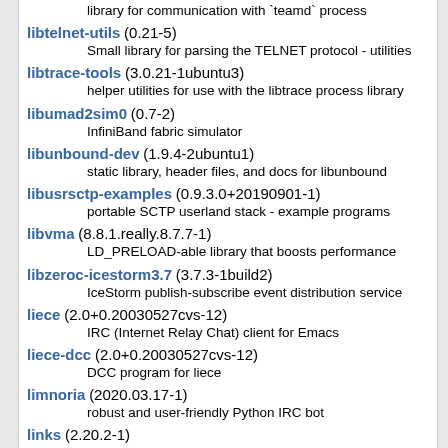library for communication with `teamd` process
libtelnet-utils (0.21-5)
Small library for parsing the TELNET protocol - utilities
libtrace-tools (3.0.21-1ubuntu3)
helper utilities for use with the libtrace process library
libumad2sim0 (0.7-2)
InfiniBand fabric simulator
libunbound-dev (1.9.4-2ubuntu1)
static library, header files, and docs for libunbound
libusrsctp-examples (0.9.3.0+20190901-1)
portable SCTP userland stack - example programs
libvma (8.8.1.really.8.7.7-1)
LD_PRELOAD-able library that boosts performance
libzeroc-icestorm3.7 (3.7.3-1build2)
IceStorm publish-subscribe event distribution service
liece (2.0+0.20030527cvs-12)
IRC (Internet Relay Chat) client for Emacs
liece-dcc (2.0+0.20030527cvs-12)
DCC program for liece
limnoria (2020.03.17-1)
robust and user-friendly Python IRC bot
links (2.20.2-1)